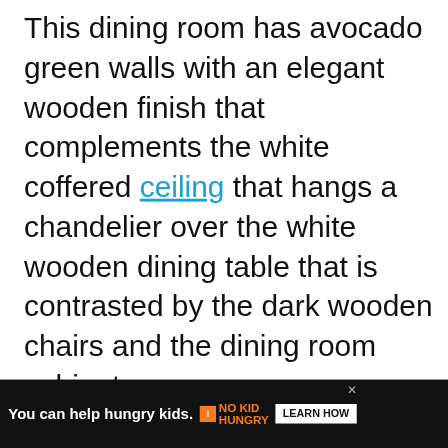This dining room has avocado green walls with an elegant wooden finish that complements the white coffered ceiling that hangs a chandelier over the white wooden dining table that is contrasted by the dark wooden chairs and the dining room cabinet.
[Figure (other): Advertisement banner for Alzheimer's Association: teal background with text "It's time to talk about Alzheimer's." and a LEARN MORE button, with Alzheimer's Association logo and close button.]
[Figure (other): Heart/like button (circular, teal/blue) with like count of 42 below it.]
[Figure (other): Bottom advertisement bar: dark background with text 'You can help hungry kids.' No Kid Hungry logo and LEARN HOW button, with close X button.]